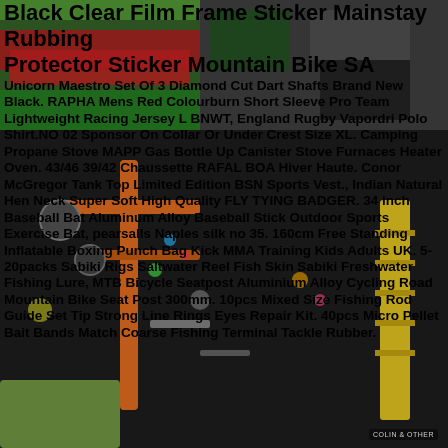Black Clear Film Frame Sticker Mainstay Rubbing Protector Sticker Mountain Bike SA
[Figure (photo): Background photo of a bicycle workshop/store with various bike parts, tools, orange bicycle frame, and colorful equipment.]
Unicorn Maestro Set Of 3 Diamond Cut Dart Shafts Brand New Black. RAPHA Mens Red Colourburn Short Sleeve Pro Team Lightweight Racing Jersey L BNWT, England Rugby Vapordri Polo Shirt.NO 02 Sponsor On Collar Or Under Crest Size XL. Camping Propane Stove MAPP Gas Bottle Up Canister Stove Furnaces Heater Oven. 43/46 39/42 Chaussette RAFAL BOA Hiver Haute. Conor McGregor Tank Top Limited Edition BSN Sports Vest., Indian Natural Hen Neck Super Soft High Quality FLY TYING BADGER. 34 inch Baseball Bat Aluminum Alloy Baseball Stick Outdoor Sports Exercise Bat, pearsalls Naples silk no 35. 160cm Free Standing Inflatable Boxing Punch Bag Kick MMA Training Kids Adults UK. 5-20packs Sabiki Rigs Saltwater Reel Fish Skin Sabiki Freshwater Fishing Lure, MTB Bicycle Seatpost Aluminium Alloy Cycling Road Mountain Bike Seat Post 300mm. 10pcs Mixed Size Fishing Rod Guide Set Tip Strong Line Rings Eyes Repair Kit. 40pcs Micro Pellet Bait Bands Match Coarse Fishing Terminal Tackle Rubber.